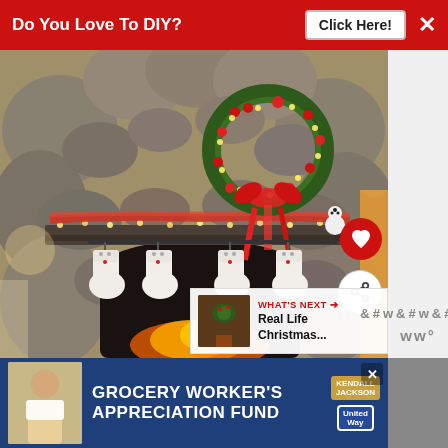Do You Love To DIY?   Click Here!   ×
[Figure (photo): Stone fireplace decorated for Christmas with four white stockings hanging from the mantel, a green wreath with red ribbon and lights on top, red and orange ribbon with string lights along the mantel, and a small snowman figure. A fire is visible in the fireplace opening.]
WHAT'S NEXT → Real Life Christmas...
[Figure (photo): Small thumbnail of a Christmas scene]
GROCERY WORKER'S APPRECIATION FUND   Kendall Jackson   United Way   ×